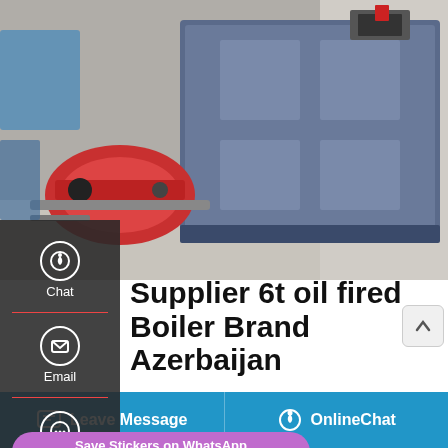[Figure (photo): Industrial oil-fired boiler with blue cabinet and red burner on left side, inside a factory/warehouse setting]
Supplier 6t oil fired Boiler Brand Azerbaijan
Commercial Agent 1t gas fired Boiler Brand Azerbaijan. 6t Natural Gas Boiler Commercial Turkey. 4t natural gas fired boiler industrial automatic georgia. 46supplier 4t natural gas steam boiler bhutan25 Sep 2020 WNS series oilgas firedboiler is a safe heating equipment with high
Leave Message   OnlineChat